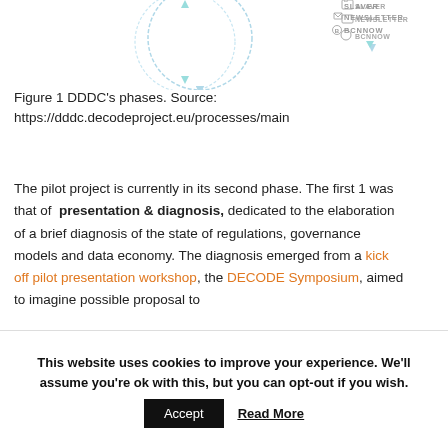[Figure (flowchart): Partial view of DDDC phases diagram showing nodes labeled SLAVER, NEWSLETTER, BCNNOW on the left side and DECODE SIGN, BCNNOW on the right side, connected by arrows in a circular/flow layout]
Figure 1 DDDC’s phases. Source: https://dddc.decodeproject.eu/processes/main
The pilot project is currently in its second phase. The first 1 was that of presentation & diagnosis, dedicated to the elaboration of a brief diagnosis of the state of regulations, governance models and data economy. The diagnosis emerged from a kick off pilot presentation workshop, the DECODE Symposium, aimed to imagine possible proposal to
This website uses cookies to improve your experience. We’ll assume you’re ok with this, but you can opt-out if you wish.